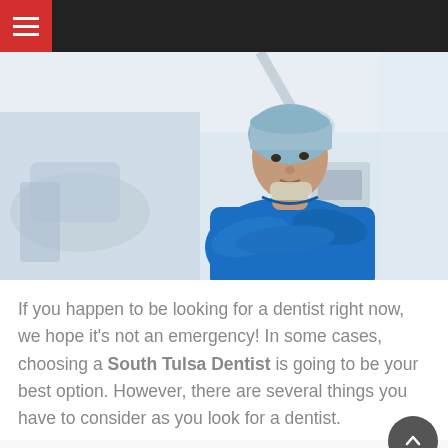[Figure (photo): A male doctor or dentist in blue scrubs and a surgical cap, standing with arms crossed in a clinical setting with dental/medical equipment in the background.]
If you happen to be looking for a dentist right now, we hope it's not an emergency! In some cases, choosing a South Tulsa Dentist is going to be your best option. However, there are several things you have to consider as you look for a dentist.
In this article, there are some important qualities...